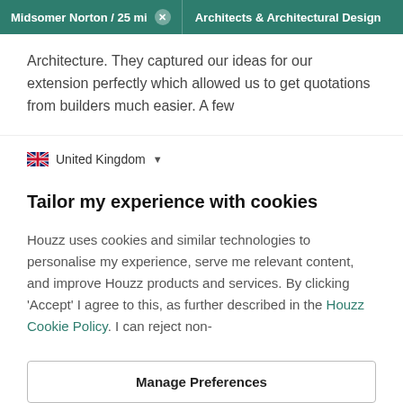Midsomer Norton / 25 mi  ×    Architects & Architectural Design
Architecture. They captured our ideas for our extension perfectly which allowed us to get quotations from builders much easier. A few
United Kingdom ▾
Tailor my experience with cookies
Houzz uses cookies and similar technologies to personalise my experience, serve me relevant content, and improve Houzz products and services. By clicking 'Accept' I agree to this, as further described in the Houzz Cookie Policy. I can reject non-
Manage Preferences
Accept